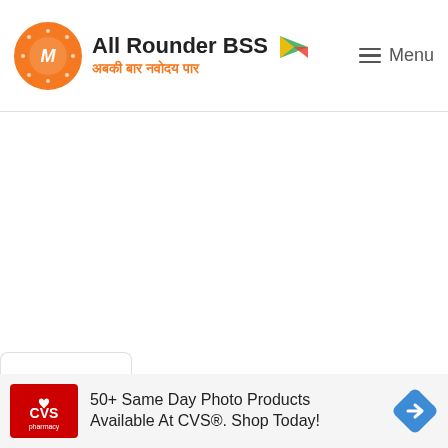All Rounder BSS | अबकी बार नवोदय पार
[Figure (screenshot): Main white content area of the All Rounder BSS website, mostly blank/loading]
[Figure (screenshot): Collapse/chevron tab at bottom of main content]
[Figure (screenshot): CVS Pharmacy advertisement: 50+ Same Day Photo Products Available At CVS®. Shop Today!]